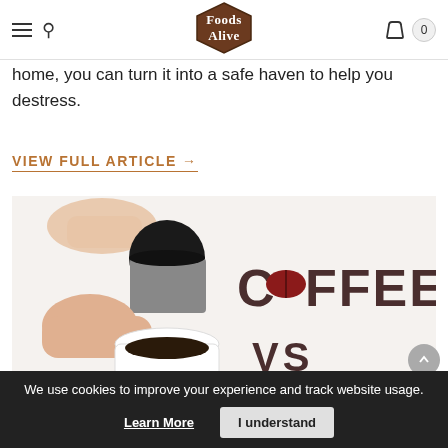Foods Alive — navigation header with hamburger menu, search, logo, cart (0)
home, you can turn it into a safe haven to help you destress.
VIEW FULL ARTICLE →
[Figure (photo): Overhead photo of two hands holding coffee cups on a white surface, with the text 'COFFEE vs' partially visible on the right side of the image in dark brown lettering with a coffee bean replacing the 'O'.]
We use cookies to improve your experience and track website usage.
Learn More    I understand